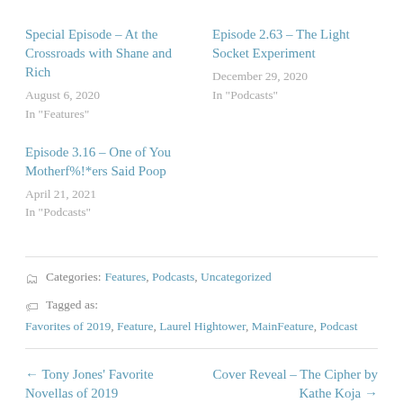Special Episode – At the Crossroads with Shane and Rich
August 6, 2020
In "Features"
Episode 2.63 – The Light Socket Experiment
December 29, 2020
In "Podcasts"
Episode 3.16 – One of You Motherf%!*ers Said Poop
April 21, 2021
In "Podcasts"
Categories: Features, Podcasts, Uncategorized
Tagged as: Favorites of 2019, Feature, Laurel Hightower, MainFeature, Podcast
← Tony Jones' Favorite Novellas of 2019
Cover Reveal – The Cipher by Kathe Koja →